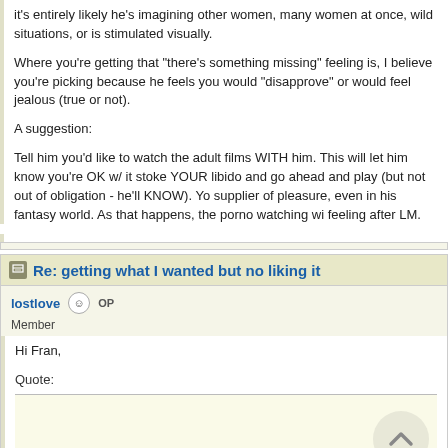it's entirely likely he's imagining other women, many women at once, wild situations, or is stimulated visually.
Where you're getting that "there's something missing" feeling is, I believe you're picking up because he feels you would "disapprove" or would feel jealous (true or not).
A suggestion:
Tell him you'd like to watch the adult films WITH him. This will let him know you're OK w/ it stoke YOUR libido and go ahead and play (but not out of obligation - he'll KNOW). Yo supplier of pleasure, even in his fantasy world. As that happens, the porno watching wi feeling after LM.
Re: getting what I wanted but no liking it
lostlove OP
Member
Hi Fran,
Quote:
Glad to hear some things have changed for you anyway. I think it is maybe a case of h